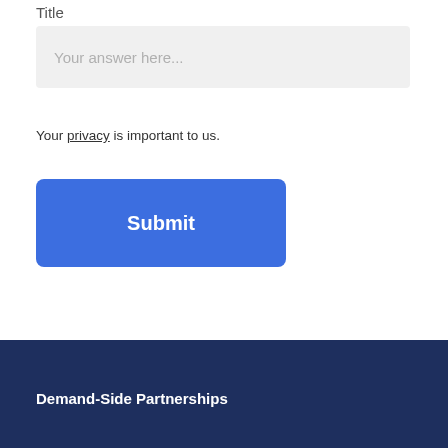Title
Your answer here...
Your privacy is important to us.
Submit
Demand-Side Partnerships